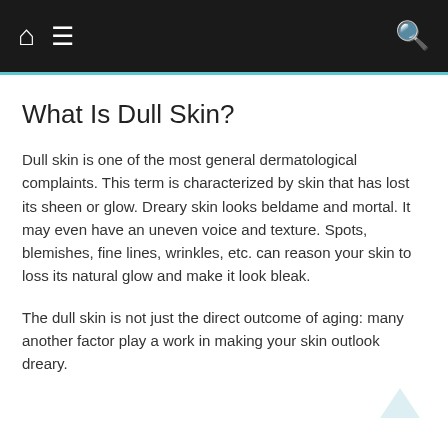Navigation bar with home, menu, and search icons
What Is Dull Skin?
Dull skin is one of the most general dermatological complaints. This term is characterized by skin that has lost its sheen or glow. Dreary skin looks beldame and mortal. It may even have an uneven voice and texture. Spots, blemishes, fine lines, wrinkles, etc. can reason your skin to loss its natural glow and make it look bleak.
The dull skin is not just the direct outcome of aging: many another factor play a work in making your skin outlook dreary.